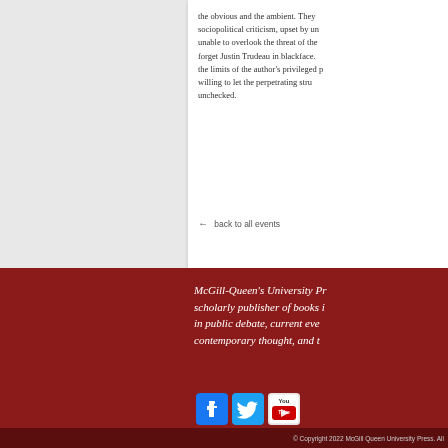the obvious and the ambient. They sociopolitical criticism, upset by un unable to overlook the threat of the forget Justin Trudeau in blackface. the limits of the author's privileged willing to let the perpetrating stru unchecked.
← back to all events
McGill-Queen's University Pr scholarly publisher of books in public debate, current eve contemporary thought, and t
[Figure (logo): Facebook, Twitter, and YouTube social media icons]
© Copyright 2022 McGill Queen University Press. All